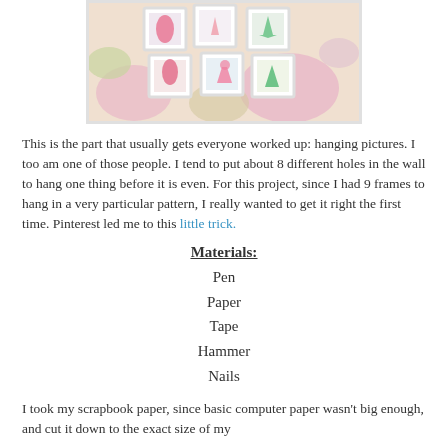[Figure (photo): Photo of multiple small framed images laid out on a floral fabric surface. The frames contain silhouettes of dresses and other shapes in pink and green colors.]
This is the part that usually gets everyone worked up: hanging pictures. I too am one of those people. I tend to put about 8 different holes in the wall to hang one thing before it is even. For this project, since I had 9 frames to hang in a very particular pattern, I really wanted to get it right the first time. Pinterest led me to this little trick.
Materials:
Pen
Paper
Tape
Hammer
Nails
I took my scrapbook paper, since basic computer paper wasn't big enough, and cut it down to the exact size of my